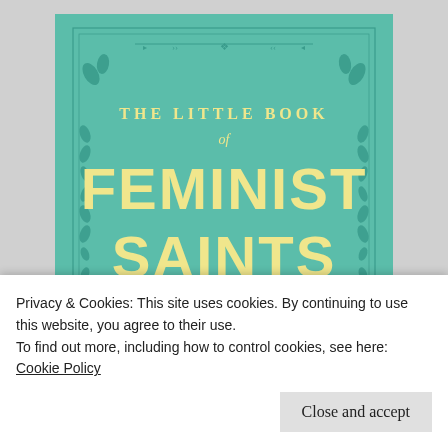[Figure (illustration): Book cover of 'The Little Book of Feminist Saints' by Julia Pierpont, illustrated by Manjit Thapp. Teal/mint green cover with decorative border, cream/yellow lettering.]
Privacy & Cookies: This site uses cookies. By continuing to use this website, you agree to their use.
To find out more, including how to control cookies, see here:
Cookie Policy
Close and accept